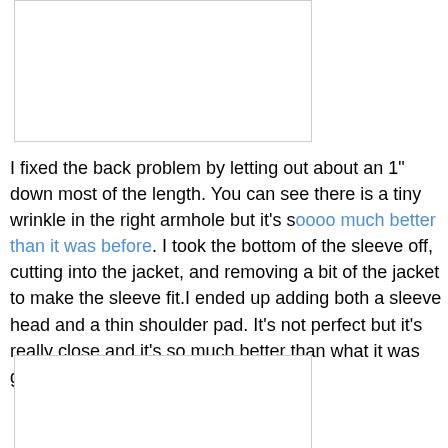[Figure (photo): Empty white box with border, representing a photo placeholder at the top of the page]
I fixed the back problem by letting out about an 1" down most of the length. You can see there is a tiny wrinkle in the right armhole but it's soooo much better than it was before. I took the bottom of the sleeve off, cutting into the jacket, and removing a bit of the jacket to make the sleeve fit.I ended up adding both a sleeve head and a thin shoulder pad. It's not perfect but it's really close and it's so much better than what it was going to look like.
[Figure (photo): Empty white box with border, representing a photo placeholder at the bottom of the page]